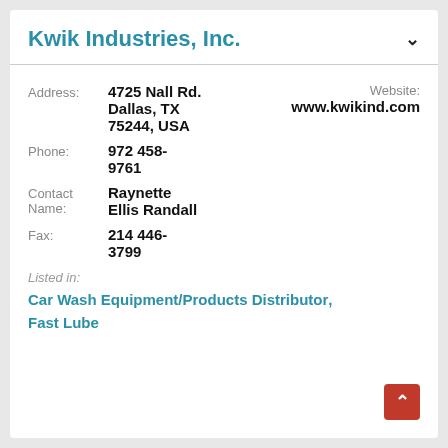Kwik Industries, Inc.
Address: 4725 Nall Rd. Dallas, TX 75244, USA
Website: www.kwikind.com
Phone: 972 458-9761
Contact Name: Raynette Ellis Randall
Fax: 214 446-3799
Listed in:
Car Wash Equipment/Products Distributor,
Fast Lube